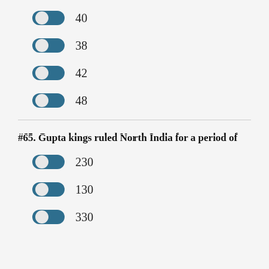40
38
42
48
#65. Gupta kings ruled North India for a period of
230
130
330